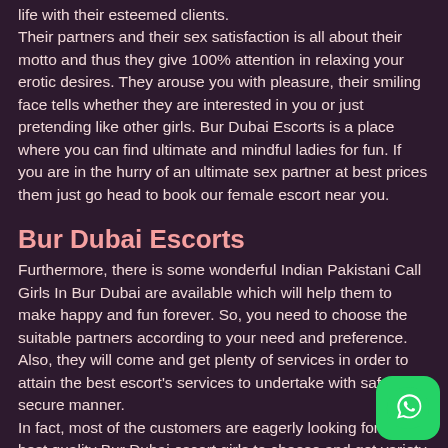life with their esteemed clients. Their partners and their sex satisfaction is all about their motto and thus they give 100% attention in relaxing your erotic desires. They arouse you with pleasure, their smiling face tells whether they are interested in you or just pretending like other girls. Bur Dubai Escorts is a place where you can find ultimate and mindful ladies for fun. If you are in the hurry of an ultimate sex partner at best prices them just go head to book our female escort near you.
Bur Dubai Escorts
Furthermore, there is some wonderful Indian Pakistani Call Girls In Bur Dubai are available which will help them to make happy and fun forever. So, you need to choose the suitable partners according to your need and preference. Also, they will come and get plenty of services in order to attain the best escort's services to undertake with safe and secure manner. In fact, most of the customers are eagerly looking for their best quality Bur Dubai escort girls to choose and get variety of services to use forever. In addition, it to render for best and cheap Bur Dubai Escorts to